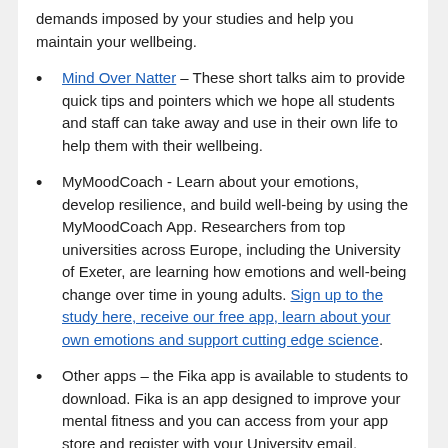demands imposed by your studies and help you maintain your wellbeing.
Mind Over Natter – These short talks aim to provide quick tips and pointers which we hope all students and staff can take away and use in their own life to help them with their wellbeing.
MyMoodCoach - Learn about your emotions, develop resilience, and build well-being by using the MyMoodCoach App. Researchers from top universities across Europe, including the University of Exeter, are learning how emotions and well-being change over time in young adults. Sign up to the study here, receive our free app, learn about your own emotions and support cutting edge science.
Other apps – the Fika app is available to students to download. Fika is an app designed to improve your mental fitness and you can access from your app store and register with your University email.